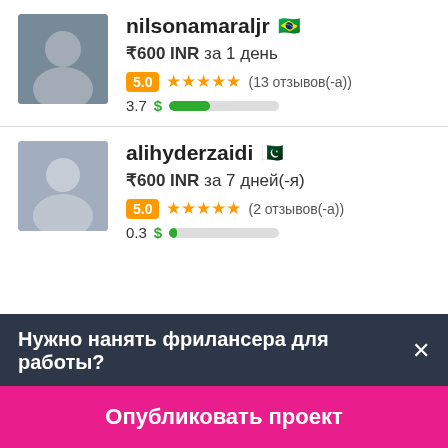nilsonamaraljr 🇧🇷
₹600 INR за 1 день
5.0 ★★★★★ (13 отзывов(-а))
3.7 $ ████░░░░░░
alihyderzaidi 🇵🇰
₹600 INR за 7 дней(-я)
5.0 ★★★★★ (2 отзывов(-а))
0.3 $ █░░░░░░░░░
Нужно нанять фрилансера для работы?×
Опубликовать проект